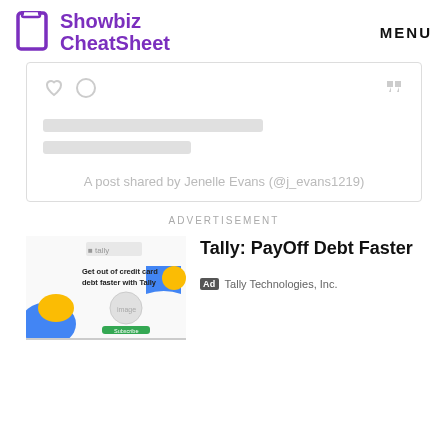Showbiz CheatSheet | MENU
[Figure (screenshot): Social media embed card placeholder with heart and circle icons, two skeleton loading bars, and caption text 'A post shared by Jenelle Evans (@j_evans1219)']
ADVERTISEMENT
[Figure (screenshot): Advertisement for Tally app showing 'Get out of credit card debt faster with Tally' with blue and yellow shapes]
Tally: PayOff Debt Faster
Ad  Tally Technologies, Inc.